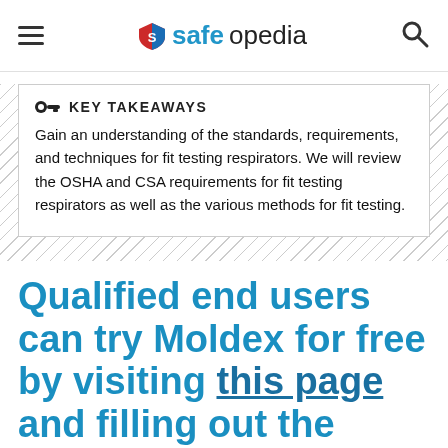safeopedia
KEY TAKEAWAYS
Gain an understanding of the standards, requirements, and techniques for fit testing respirators. We will review the OSHA and CSA requirements for fit testing respirators as well as the various methods for fit testing.
Qualified end users can try Moldex for free by visiting this page and filling out the short form.